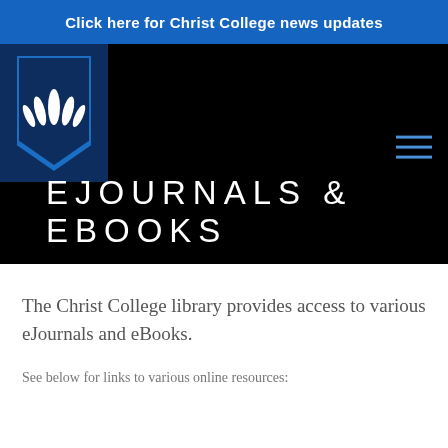Click here for Christ College news updates
[Figure (logo): Christ College logo — white flame/leaf emblem on dark navy shield with blue chevron, on black navigation bar with blue hamburger menu icon on right]
EJOURNALS & EBOOKS
The Christ College library provides access to various eJournals and eBooks.
See below for links to various online resources: